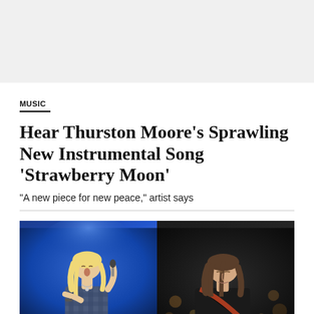[Figure (photo): Gray advertisement placeholder banner at top of page]
MUSIC
Hear Thurston Moore’s Sprawling New Instrumental Song ‘Strawberry Moon’
"A new piece for new peace," artist says
[Figure (photo): Two side-by-side concert photos: left shows a blonde female singer performing with a microphone against a blue stage light background; right shows a man with brown hair playing guitar (Thurston Moore) against a dark background with bokeh lights]